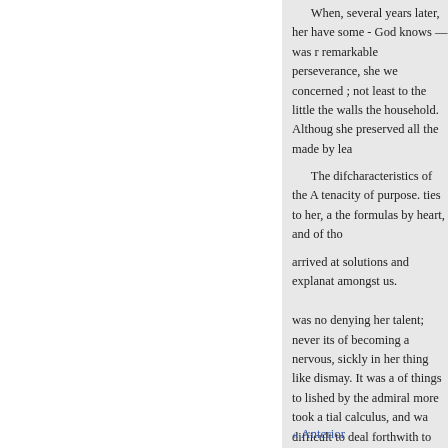When, several years later, her have some - God knows — was remarkable perseverance, she we concerned ; not least to the little the walls the household. Althoug she preserved all the made by lea
The difcharacteristics of the A tenacity of purpose. ties to her, a the formulas by heart, and of tho arrived at solutions and explanat amongst us.
was no denying her talent; never its of becoming a nervous, sickly in her thing like dismay. It was a of things to lished by the admiral more took a tial calculus, and wa difficult to deal forthwith to poin enough on bis hands. Already so
« Anterior